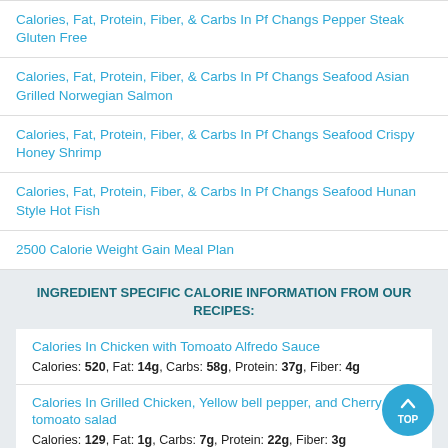Calories, Fat, Protein, Fiber, & Carbs In Pf Changs Pepper Steak Gluten Free
Calories, Fat, Protein, Fiber, & Carbs In Pf Changs Seafood Asian Grilled Norwegian Salmon
Calories, Fat, Protein, Fiber, & Carbs In Pf Changs Seafood Crispy Honey Shrimp
Calories, Fat, Protein, Fiber, & Carbs In Pf Changs Seafood Hunan Style Hot Fish
2500 Calorie Weight Gain Meal Plan
INGREDIENT SPECIFIC CALORIE INFORMATION FROM OUR RECIPES:
Calories In Chicken with Tomoato Alfredo Sauce
Calories: 520, Fat: 14g, Carbs: 58g, Protein: 37g, Fiber: 4g
Calories In Grilled Chicken, Yellow bell pepper, and Cherry tomoato salad
Calories: 129, Fat: 1g, Carbs: 7g, Protein: 22g, Fiber: 3g